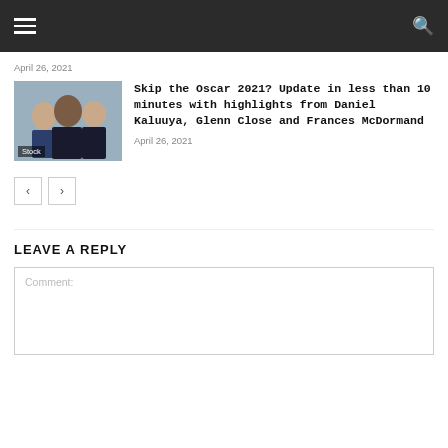Navigation bar with hamburger menu and search icon
April 26, 2021
[Figure (photo): Three people posing together, labeled Stock]
Skip the Oscar 2021? Update in less than 10 minutes with highlights from Daniel Kaluuya, Glenn Close and Frances McDormand
April 26, 2021
Pagination: left arrow, right arrow
LEAVE A REPLY
Comment: